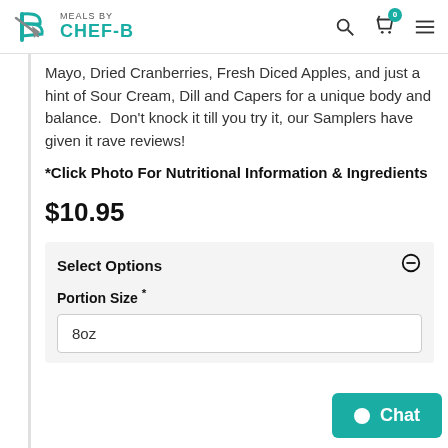Meals by Chef-B
Mayo, Dried Cranberries, Fresh Diced Apples, and just a hint of Sour Cream, Dill and Capers for a unique body and balance. Don't knock it till you try it, our Samplers have given it rave reviews!
*Click Photo For Nutritional Information & Ingredients
$10.95
Select Options
Portion Size *
8oz
Chat